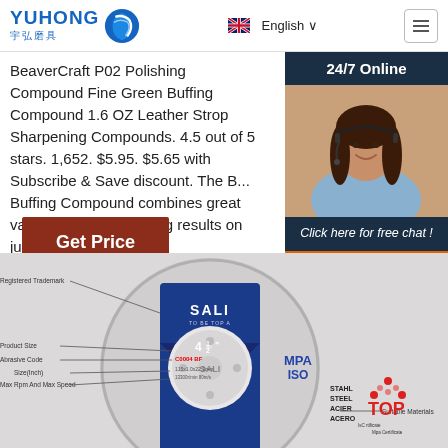YUHONG 宇弘磨具 | English
BeaverCraft P02 Polishing Compound Fine Green Buffing Compound 1.6 OZ Leather Strop Sharpening Compounds. 4.5 out of 5 stars. 1,652. $5.95. $5.65 with Subscribe & Save discount. The Buffing Compound combines great value with quality buffing results on just about any meta
[Figure (screenshot): Chat widget with '24/7 Online' header, customer service photo, 'Click here for free chat!' text, and QUOTATION button]
[Figure (photo): SALI branded grinding/cutting disc with labeled diagram showing: Registered Trademark, Product Size, Abrasive Code, Size(Inch), Max Rpm And Max Speed, MPA ISO certification, STAHL/STEEL/ACIER/ACERO text, Suitable Materials, TOP MPA Certificate badge]
Get Price